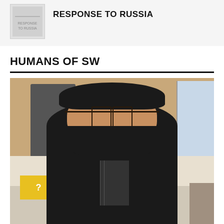RESPONSE TO RUSSIA
HUMANS OF SW
[Figure (photo): A student wearing a black mask, glasses, and a SWCTA lanyard sits in front of a bookshelf with action figures and a yellow question mark box.]